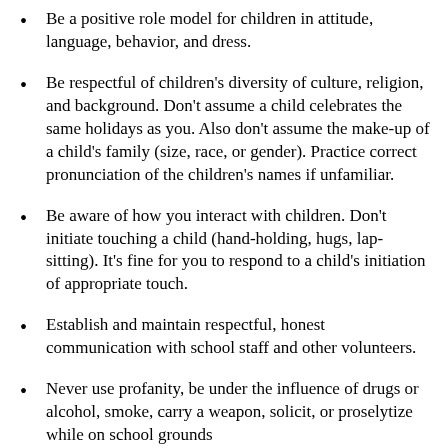Be a positive role model for children in attitude, language, behavior, and dress.
Be respectful of children's diversity of culture, religion, and background. Don't assume a child celebrates the same holidays as you. Also don't assume the make-up of a child's family (size, race, or gender). Practice correct pronunciation of the children's names if unfamiliar.
Be aware of how you interact with children. Don't initiate touching a child (hand-holding, hugs, lap-sitting). It's fine for you to respond to a child's initiation of appropriate touch.
Establish and maintain respectful, honest communication with school staff and other volunteers.
Never use profanity, be under the influence of drugs or alcohol, smoke, carry a weapon, solicit, or proselytize while on school grounds
Positive closure is critical in the process of ending your role